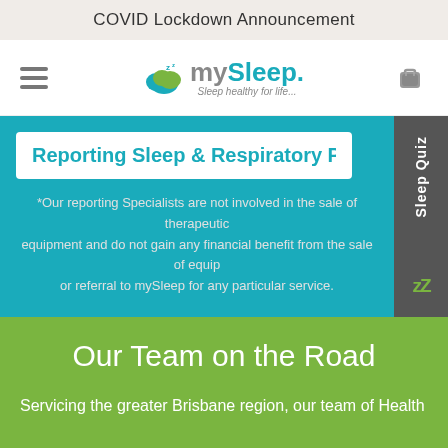COVID Lockdown Announcement
[Figure (logo): mySleep logo with cloud icon and tagline 'Sleep healthy for life...']
Reporting Sleep & Respiratory Physicians
*Our reporting Specialists are not involved in the sale of therapeutic equipment and do not gain any financial benefit from the sale of equip... or referral to mySleep for any particular service.
Our Team on the Road
Servicing the greater Brisbane region, our team of Health